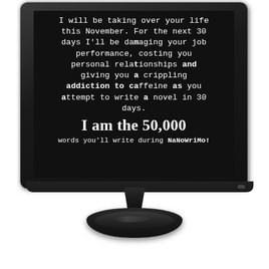[Figure (illustration): A black computer monitor on a black stand displaying white text on a dark screen. The text reads: 'I will be taking over your life this November. For the next 30 days I'll be damaging your job performance, costing you personal relationships and giving you a crippling addiction to caffeine as you attempt to write a novel in 30 days. I am the 50,000 words you'll write during NaNoWriMo!']